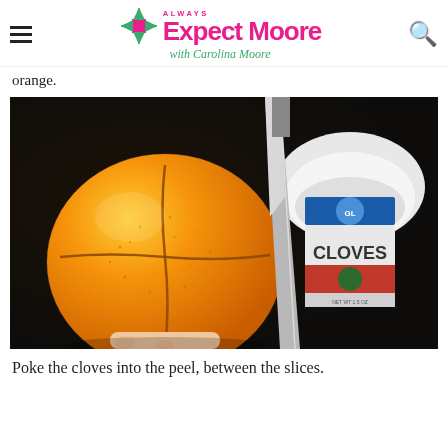Always Expect Moore with Carolina Moore
orange.
[Figure (photo): A hand holding an orange with cross-hatch score marks cut into the peel, with a knife visible alongside it. In the background is a white bowl and a box of Cloves spice.]
Poke the cloves into the peel, between the slices.